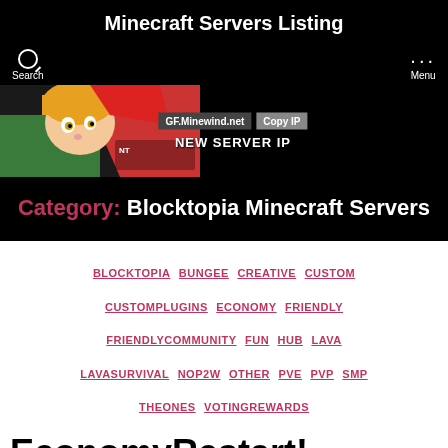Minecraft Servers Listing
[Figure (screenshot): Banner advertisement showing anime character with text 'GF.Minewind.net Copy IP NEW SERVER IP']
Category: Blocktopia Minecraft Servers
BLOCKTOPIA BUNGEE CREATIVE CUSTOM CUSTOMPLUGINS ECONOMY FRIENDLY FRIENDLYCOMMUNITY FUN HUB LAVA LAVASURVIVAL NOP2W OTHER PVE PVP SMP THEONES VOTINGREWARDS
EconomyRestart! Question...